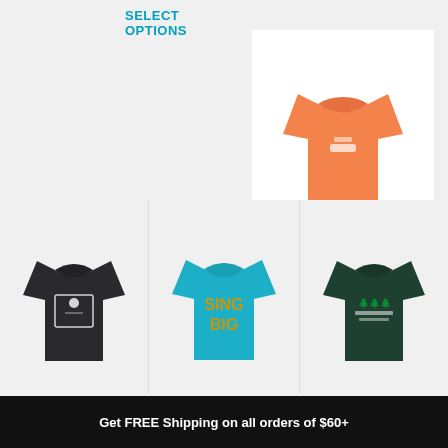SELECT OPTIONS
[Figure (photo): Orange adult t-shirt with small white graphic on chest, displayed flat on white background]
Radiate Joy – Adult Tee
$34.99 – $37.99
SELECT OPTIONS
[Figure (photo): Dark charcoal/black adult t-shirt with white cat/dog graphic on front]
[Figure (photo): Bright teal/turquoise adult t-shirt with gold and orange 'SING BIG' text graphic on front]
[Figure (photo): Dark forest green adult t-shirt with white small graphic on front]
Get FREE Shipping on all orders of $60+